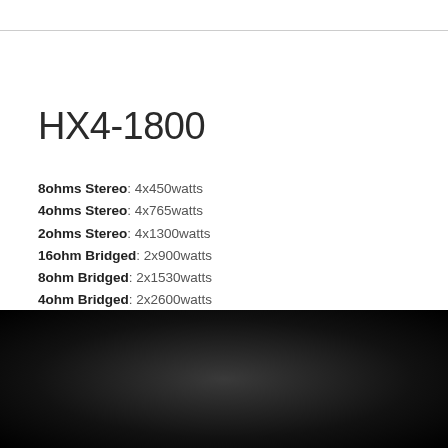HX4-1800
8ohms Stereo: 4x450watts
4ohms Stereo: 4x765watts
2ohms Stereo: 4x1300watts
16ohm Bridged: 2x900watts
8ohm Bridged: 2x1530watts
4ohm Bridged: 2x2600watts
download our
Catalogue